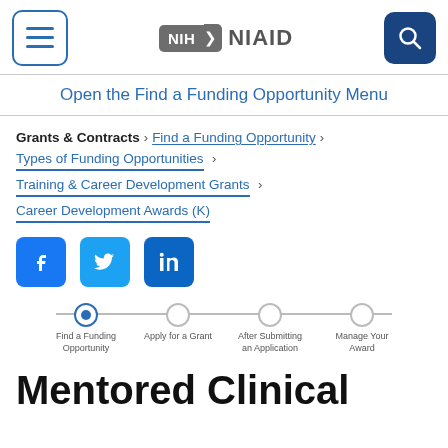NIH NIAID header with menu and search buttons
Open the Find a Funding Opportunity Menu
Grants & Contracts > Find a Funding Opportunity > Types of Funding Opportunities > Training & Career Development Grants > Career Development Awards (K)
[Figure (infographic): Social media icons: Facebook, Twitter, LinkedIn]
[Figure (infographic): Progress steps: Find a Funding Opportunity (active), Apply for a Grant, After Submitting an Application, Manage Your Award]
Mentored Clinical